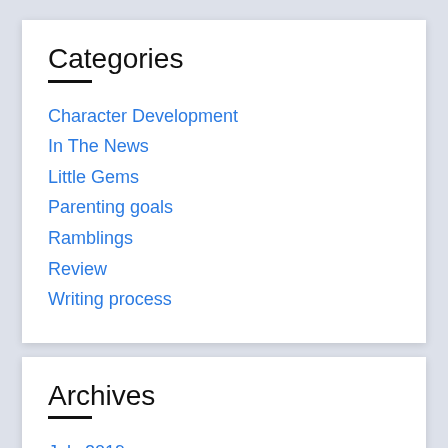Categories
Character Development
In The News
Little Gems
Parenting goals
Ramblings
Review
Writing process
Archives
July 2019
April 2019